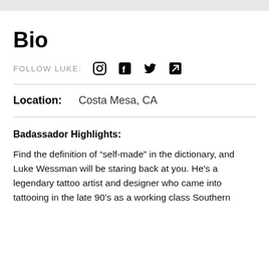Bio
FOLLOW LUKE:
Badassador Highlights:
Location: Costa Mesa, CA
Find the definition of “self-made” in the dictionary, and Luke Wessman will be staring back at you. He’s a legendary tattoo artist and designer who came into tattooing in the late 90’s as a working class Southern